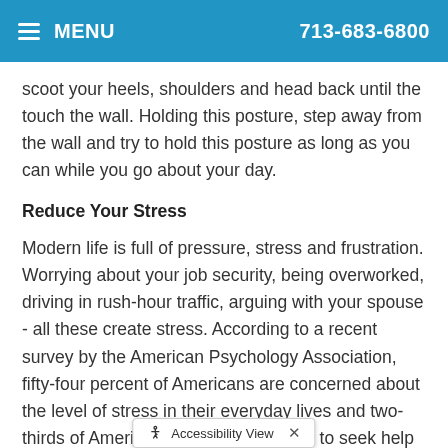MENU | 713-683-6800
scoot your heels, shoulders and head back until the touch the wall. Holding this posture, step away from the wall and try to hold this posture as long as you can while you go about your day.
Reduce Your Stress
Modern life is full of pressure, stress and frustration. Worrying about your job security, being overworked, driving in rush-hour traffic, arguing with your spouse - all these create stress. According to a recent survey by the American Psychology Association, fifty-four percent of Americans are concerned about the level of stress in their everyday lives and two-thirds of Americans say they are likely to seek help for stress.